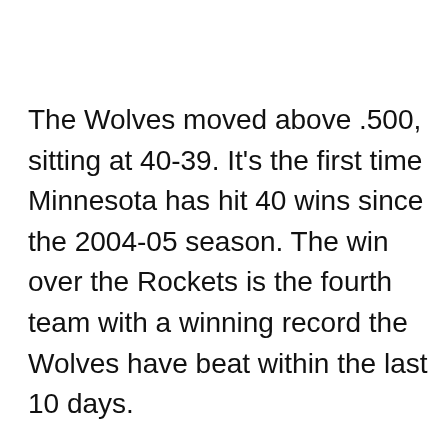The Wolves moved above .500, sitting at 40-39. It's the first time Minnesota has hit 40 wins since the 2004-05 season. The win over the Rockets is the fourth team with a winning record the Wolves have beat within the last 10 days.